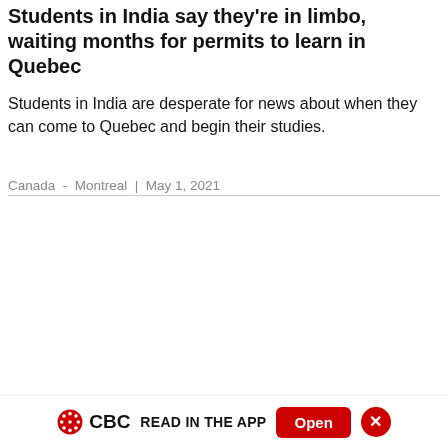Students in India say they're in limbo, waiting months for permits to learn in Quebec
Students in India are desperate for news about when they can come to Quebec and begin their studies.
Canada  -  Montreal  |  May 1, 2021
[Figure (photo): Gray placeholder image area for a photo or video]
CBC  READ IN THE APP  Open